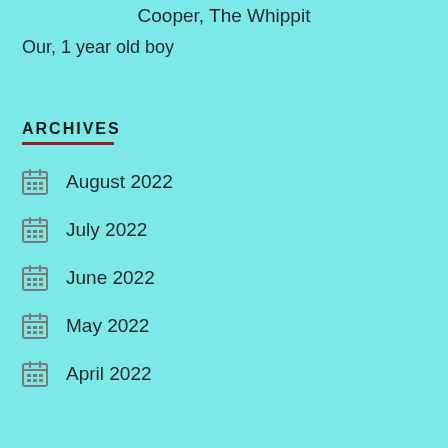Cooper, The Whippit
Our, 1 year old boy
ARCHIVES
August 2022
July 2022
June 2022
May 2022
April 2022